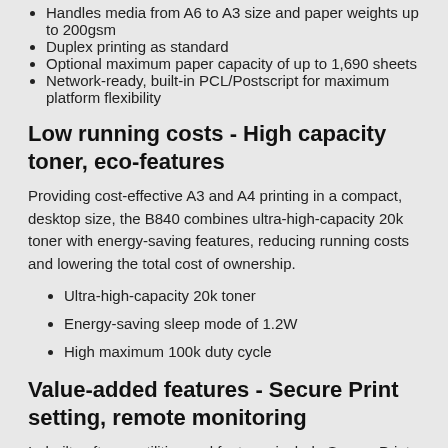Handles media from A6 to A3 size and paper weights up to 200gsm
Duplex printing as standard
Optional maximum paper capacity of up to 1,690 sheets
Network-ready, built-in PCL/Postscript for maximum platform flexibility
Low running costs - High capacity toner, eco-features
Providing cost-effective A3 and A4 printing in a compact, desktop size, the B840 combines ultra-high-capacity 20k toner with energy-saving features, reducing running costs and lowering the total cost of ownership.
Ultra-high-capacity 20k toner
Energy-saving sleep mode of 1.2W
High maximum 100k duty cycle
Value-added features - Secure Print setting, remote monitoring
In-built software utilities and features include Secure Print function to protect sensitive documents and PrintSuperVision...